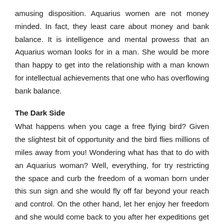amusing disposition. Aquarius women are not money minded. In fact, they least care about money and bank balance. It is intelligence and mental prowess that an Aquarius woman looks for in a man. She would be more than happy to get into the relationship with a man known for intellectual achievements that one who has overflowing bank balance.
The Dark Side
What happens when you cage a free flying bird? Given the slightest bit of opportunity and the bird flies millions of miles away from you! Wondering what has that to do with an Aquarius woman? Well, everything, for try restricting the space and curb the freedom of a woman born under this sun sign and she would fly off far beyond your reach and control. On the other hand, let her enjoy her freedom and she would come back to you after her expeditions get over. An Aquarius woman is like the butterfly in a garden. She hops, skips and plays with every flower there is but she belongs to none and none is her own. Inconsistency and confusion come naturally to Aquarius woman. She may be acting as your best friend today, but the very next day, she will ignore you as if she never knew you. Also, it gets extremely difficult to track the mind of an Aquarius female, which is continuously on the go